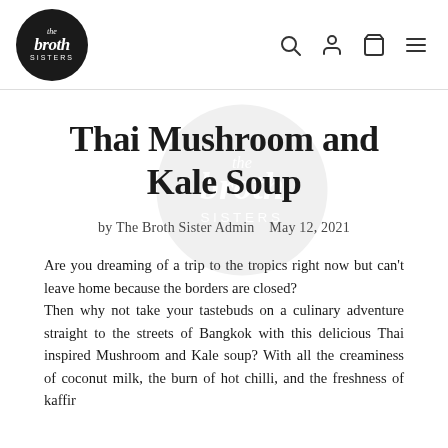the broth sisters [logo] + navigation icons: search, account, cart, menu
Thai Mushroom and Kale Soup
by The Broth Sister Admin   May 12, 2021
Are you dreaming of a trip to the tropics right now but can't leave home because the borders are closed?
Then why not take your tastebuds on a culinary adventure straight to the streets of Bangkok with this delicious Thai inspired Mushroom and Kale soup? With all the creaminess of coconut milk, the burn of hot chilli, and the freshness of kaffir